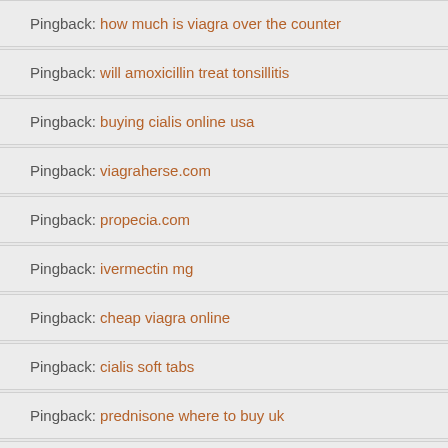Pingback: how much is viagra over the counter
Pingback: will amoxicillin treat tonsillitis
Pingback: buying cialis online usa
Pingback: viagraherse.com
Pingback: propecia.com
Pingback: ivermectin mg
Pingback: cheap viagra online
Pingback: cialis soft tabs
Pingback: prednisone where to buy uk
Pingback: generic viagra
Pingback: tadalafil in canada
Pingback: how to buy ivermectin online